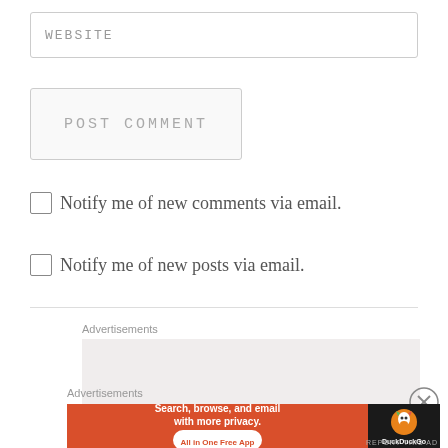WEBSITE
POST COMMENT
Notify me of new comments via email.
Notify me of new posts via email.
Advertisements
[Figure (other): Gray advertisement placeholder box]
Advertisements
[Figure (other): DuckDuckGo advertisement banner: Search, browse, and email with more privacy. All in One Free App. DuckDuckGo logo on dark background.]